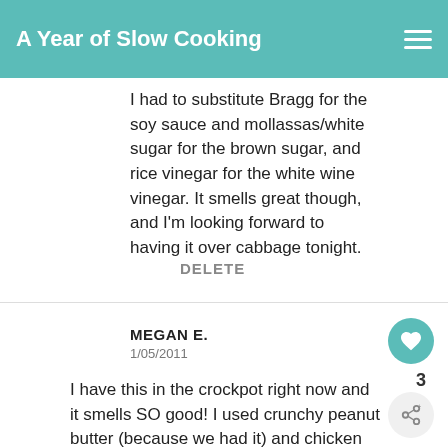A Year of Slow Cooking
I had to substitute Bragg for the soy sauce and mollassas/white sugar for the brown sugar, and rice vinegar for the white wine vinegar. It smells great though, and I'm looking forward to having it over cabbage tonight.
DELETE
MEGAN E.
1/05/2011
I have this in the crockpot right now and it smells SO good! I used crunchy peanut butter (because we had it) and chicken (because I
[Figure (other): What's Next promo box with CrockPot Hamburger image and text]
[Figure (other): Advertisement banner: Xavier, adopted at 18, Dave Thomas Foundation for Adoption, with close button]